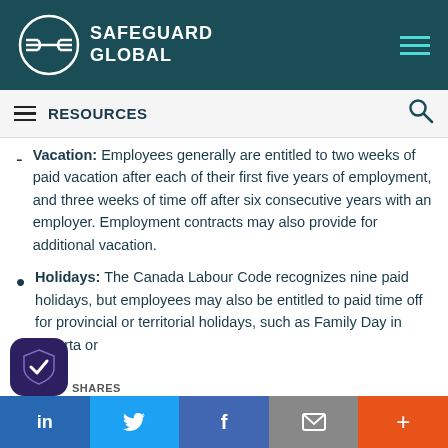SAFEGUARD GLOBAL
RESOURCES
Vacation: Employees generally are entitled to two weeks of paid vacation after each of their first five years of employment, and three weeks of time off after six consecutive years with an employer. Employment contracts may also provide for additional vacation.
Holidays: The Canada Labour Code recognizes nine paid holidays, but employees may also be entitled to paid time off for provincial or territorial holidays, such as Family Day in Alberta or
SHARES | in | Twitter | f | email | +